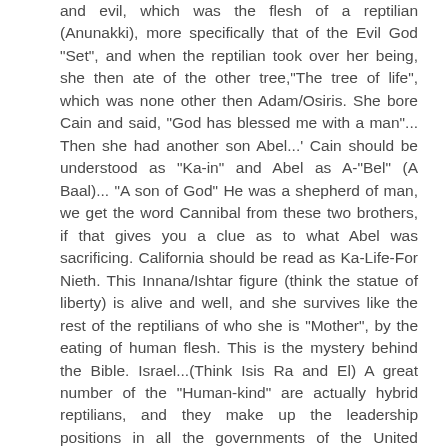and evil, which was the flesh of a reptilian (Anunakki), more specifically that of the Evil God "Set", and when the reptilian took over her being, she then ate of the other tree,"The tree of life", which was none other then Adam/Osiris. She bore Cain and said, "God has blessed me with a man"... Then she had another son Abel...' Cain should be understood as "Ka-in" and Abel as A-"Bel" (A Baal)... "A son of God" He was a shepherd of man, we get the word Cannibal from these two brothers, if that gives you a clue as to what Abel was sacrificing. California should be read as Ka-Life-For Nieth. This Innana/Ishtar figure (think the statue of liberty) is alive and well, and she survives like the rest of the reptilians of who she is "Mother", by the eating of human flesh. This is the mystery behind the Bible. Israel...(Think Isis Ra and El) A great number of the "Human-kind" are actually hybrid reptilians, and they make up the leadership positions in all the governments of the United Nations, but are actually led by a group called "The Free Souls" in Europe. Or so "the story thinks to" for a build...